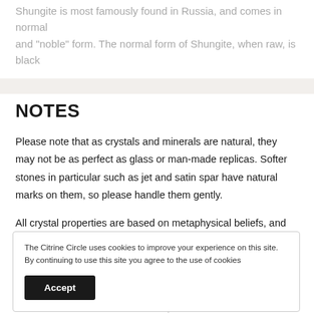Shungite is most famously found in Russia, and comes in normal and "noble" form. The normal form of Shungite, when raw, is black
+ View more
NOTES
Please note that as crystals and minerals are natural, they may not be as perfect as glass or man-made replicas. Softer stones in particular such as jet and satin spar have natural marks on them, so please handle them gently.
All crystal properties are based on metaphysical beliefs, and should
The Citrine Circle uses cookies to improve your experience on this site. By continuing to use this site you agree to the use of cookies
Accept
are not intended to substitute over. Crystals are not intended to be used as